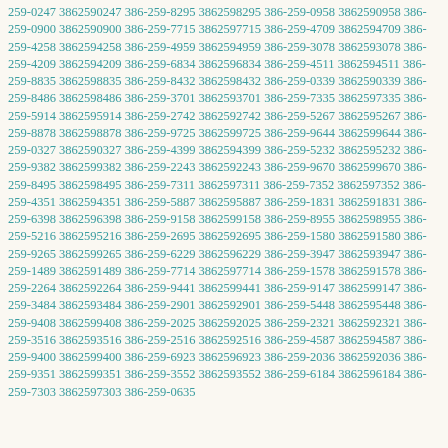259-0247 3862590247 386-259-8295 3862598295 386-259-0958 3862590958 386-259-0900 3862590900 386-259-7715 3862597715 386-259-4709 3862594709 386-259-4258 3862594258 386-259-4959 3862594959 386-259-3078 3862593078 386-259-4209 3862594209 386-259-6834 3862596834 386-259-4511 3862594511 386-259-8835 3862598835 386-259-8432 3862598432 386-259-0339 3862590339 386-259-8486 3862598486 386-259-3701 3862593701 386-259-7335 3862597335 386-259-5914 3862595914 386-259-2742 3862592742 386-259-5267 3862595267 386-259-8878 3862598878 386-259-9725 3862599725 386-259-9644 3862599644 386-259-0327 3862590327 386-259-4399 3862594399 386-259-5232 3862595232 386-259-9382 3862599382 386-259-2243 3862592243 386-259-9670 3862599670 386-259-8495 3862598495 386-259-7311 3862597311 386-259-7352 3862597352 386-259-4351 3862594351 386-259-5887 3862595887 386-259-1831 3862591831 386-259-6398 3862596398 386-259-9158 3862599158 386-259-8955 3862598955 386-259-5216 3862595216 386-259-2695 3862592695 386-259-1580 3862591580 386-259-9265 3862599265 386-259-6229 3862596229 386-259-3947 3862593947 386-259-1489 3862591489 386-259-7714 3862597714 386-259-1578 3862591578 386-259-2264 3862592264 386-259-9441 3862599441 386-259-9147 3862599147 386-259-3484 3862593484 386-259-2901 3862592901 386-259-5448 3862595448 386-259-9408 3862599408 386-259-2025 3862592025 386-259-2321 3862592321 386-259-3516 3862593516 386-259-2516 3862592516 386-259-4587 3862594587 386-259-9400 3862599400 386-259-6923 3862596923 386-259-2036 3862592036 386-259-9351 3862599351 386-259-3552 3862593552 386-259-6184 3862596184 386-259-7303 3862597303 386-259-0635